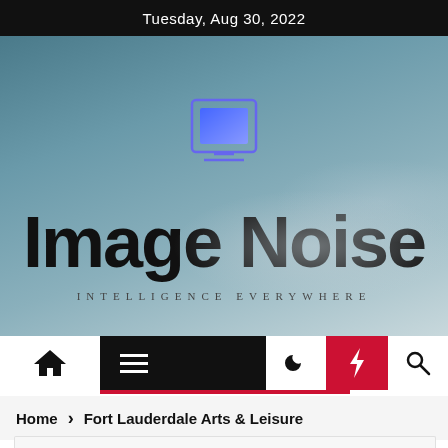Tuesday, Aug 30, 2022
[Figure (logo): Image Noise website header with computer monitor logo icon, brand name 'Image Noise', and tagline 'INTELLIGENCE EVERYWHERE' on a cloudy blue-grey background]
[Figure (infographic): Navigation bar with home icon, hamburger menu, moon/dark mode icon, red lightning bolt icon, and search icon]
Home > Fort Lauderdale Arts & Leisure